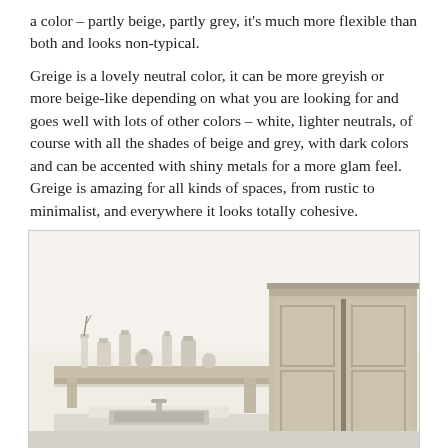a color – partly beige, partly grey, it's much more flexible than both and looks non-typical.
Greige is a lovely neutral color, it can be more greyish or more beige-like depending on what you are looking for and goes well with lots of other colors – white, lighter neutrals, of course with all the shades of beige and grey, with dark colors and can be accented with shiny metals for a more glam feel. Greige is amazing for all kinds of spaces, from rustic to minimalist, and everywhere it looks totally cohesive.
[Figure (photo): Interior photo showing a greige/beige kitchen or utility room with cream-colored walls, a wooden shelf with ceramic bottles and vases in neutral tones, a sink area, and a large greige painted cabinet with panel doors on the right side.]